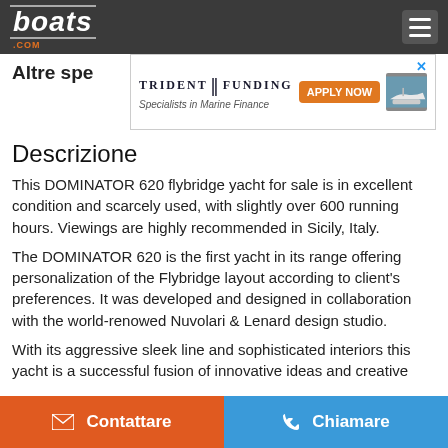boats.com
Altre spe
[Figure (screenshot): Trident Funding advertisement banner - Specialists in Marine Finance with Apply Now button and boat image]
Descrizione
This DOMINATOR 620 flybridge yacht for sale is in excellent condition and scarcely used, with slightly over 600 running hours. Viewings are highly recommended in Sicily, Italy.
The DOMINATOR 620 is the first yacht in its range offering personalization of the Flybridge layout according to client's preferences. It was developed and designed in collaboration with the world-renowed Nuvolari & Lenard design studio.
With its aggressive sleek line and sophisticated interiors this yacht is a successful fusion of innovative ideas and creative
Contattare   Chiamare